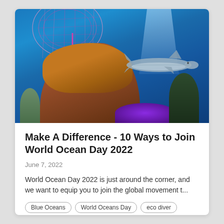[Figure (photo): Underwater ocean scene showing a vibrant pink/purple sea fan coral, colorful reef with orange-brown encrusting corals, purple corals at bottom, dark seaweed, and a shark swimming in the background against a bright blue ocean water.]
Make A Difference - 10 Ways to Join World Ocean Day 2022
June 7, 2022
World Ocean Day 2022 is just around the corner, and we want to equip you to join the global movement t...
Blue Oceans
World Oceans Day
eco diver